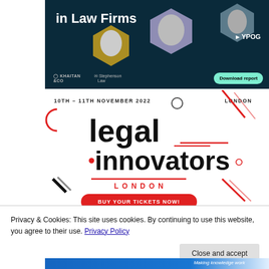[Figure (illustration): Advertisement banner for a report titled 'in Law Firms' featuring hexagonal photo frames of professionals, logos for Khaitan & Co, Stephenson Law, YPOG, and a green 'Download report' button on dark navy background.]
10TH – 11TH NOVEMBER 2022   LONDON
legal innovators LONDON
[Figure (other): Legal Innovators London event branding with decorative geometric shapes (diagonal red lines, circles, arc), 'legal innovators' logo in bold black, 'LONDON' in red, and a red 'BUY YOUR TICKETS NOW!' button.]
Privacy & Cookies: This site uses cookies. By continuing to use this website, you agree to their use. Privacy Policy
Close and accept
[Figure (other): Partial bottom banner strip in blue with text 'Making knowledge work']